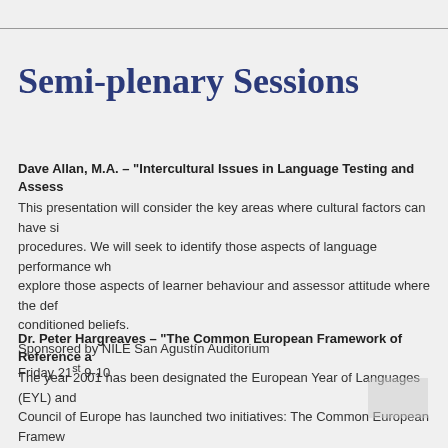Semi-plenary Sessions
Dave Allan, M.A. – "Intercultural Issues in Language Testing and Assessment"
This presentation will consider the key areas where cultural factors can have significant impact on testing and assessment procedures. We will seek to identify those aspects of language performance which are culturally influenced and explore those aspects of learner behaviour and assessor attitude where the default positions reflect culturally conditioned beliefs.
Sponsored by NILE San Agustín Auditorium
Friday 21st 9-10
Dr. Peter Hargreaves – "The Common European Framework of Reference and the European Language Portfolio"
The year 2001 has been designated the European Year of Languages (EYL) and as part of its language promotion activities the Council of Europe has launched two initiatives: The Common European Framework of Reference and the European Language Portfolio. This presentation reviews the activities in the Year of Languages and introduces both initiatives.
Sponsored by UCLES San Agustín Auditorium
Friday 21st 10-11